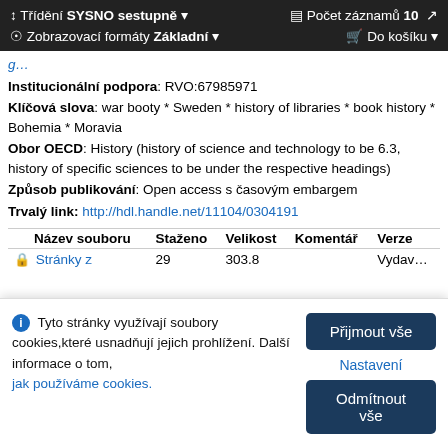↕ Třídění SYSNO sestupně ▾   ▦ Počet záznamů 10 ↗   👁 Zobrazovací formáty Základní ▾   🛒 Do košíku ▾
Institucionální podpora: RVO:67985971
Klíčová slova: war booty * Sweden * history of libraries * book history * Bohemia * Moravia
Obor OECD: History (history of science and technology to be 6.3, history of specific sciences to be under the respective headings)
Způsob publikování: Open access s časovým embargem
Trvalý link: http://hdl.handle.net/11104/0304191
| Název souboru | Staženo | Velikost | Komentář | Verze |
| --- | --- | --- | --- | --- |
| 🔒 Stránky z | 29 | 303.8 |  | Vydav… |
ⓘ  Tyto stránky využívají soubory cookies,které usnadňují jejich prohlížení. Další informace o tom, jak používáme cookies.
Přijmout vše | Nastavení | Odmítnout vše